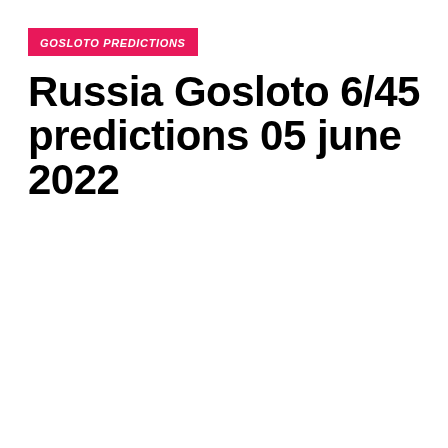GOSLOTO PREDICTIONS
Russia Gosloto 6/45 predictions 05 june 2022